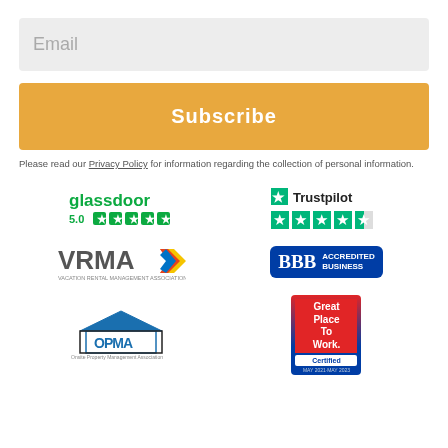Email
Subscribe
Please read our Privacy Policy for information regarding the collection of personal information.
[Figure (logo): Glassdoor logo with 5.0 rating and five green star rating icons]
[Figure (logo): Trustpilot logo with a green star and four and a half green star rating icons]
[Figure (logo): VRMA (Vacation Rental Management Association) logo with colorful arrow]
[Figure (logo): BBB Accredited Business badge in blue]
[Figure (logo): OPMA (Outdoor Property Management Association) logo with house icon]
[Figure (logo): Great Place To Work Certified badge, May 2021 - May 2023]